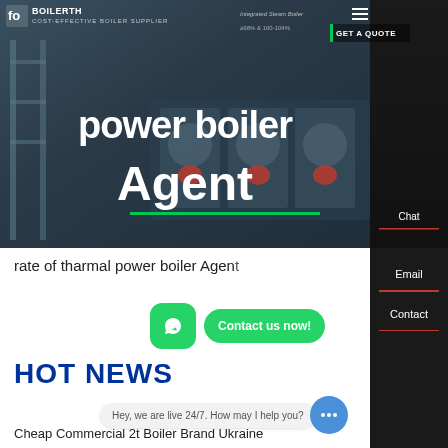[Figure (screenshot): Website header with boiler equipment background image, logo 'foBOILERthermal COST-EFFECTIVE BOILER SUPPLIER', navigation menu with hamburger icon, 'Integrated Steam Boiler' text, GET A QUOTE button]
power boiler Agent
[Figure (screenshot): Sidebar with Chat, Email, Contact options on dark background]
rate of tharmal power boiler Agent
[Figure (other): WhatsApp green icon button and 'Contact us now!' green rounded button]
HOT NEWS
Hey, we are live 24/7. How may I help you?
Cheap Commercial 2t Boiler Brand Ukraine